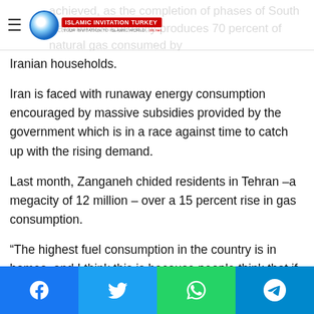Islamic Invitation Turkey — site header logo
achieved, as the completion of phases of South Pars which currently produces 70 percent of natural gas consumed by Iranian households.
Iran is faced with runaway energy consumption encouraged by massive subsidies provided by the government which is in a race against time to catch up with the rising demand.
Last month, Zanganeh chided residents in Tehran –a megacity of 12 million – over a 15 percent rise in gas consumption.
“The highest fuel consumption in the country is in homes, and I think this is because people think that if they leave windows open, the corona will go away. Authorities should tell people to close the windows and lower the temperature,” he said.
Social share buttons: Facebook, Twitter, WhatsApp, Telegram